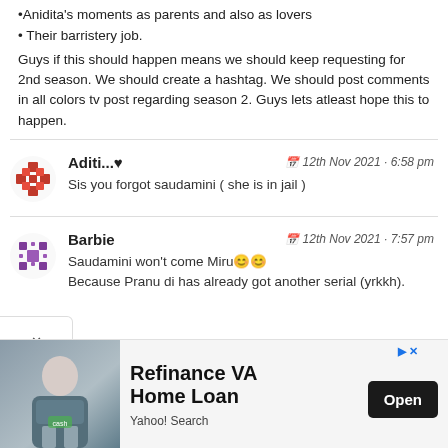•Anidita's moments as parents and also as lovers
• Their barristery job.
Guys if this should happen means we should keep requesting for 2nd season. We should create a hashtag. We should post comments in all colors tv post regarding season 2. Guys lets atleast hope this to happen.
Aditi...♥  |  12th Nov 2021 · 6:58 pm
Sis you forgot saudamini ( she is in jail )
Barbie  |  12th Nov 2021 · 7:57 pm
Saudamini won't come Miru😊😊
Because Pranu di has already got another serial (yrkkh).
[Figure (infographic): Advertisement banner for Refinance VA Home Loan by Yahoo! Search, with a photo of a woman in military uniform holding cash, an Open button, and ad icons.]